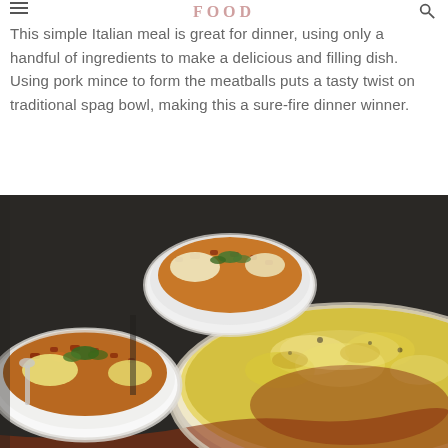FOOD
This simple Italian meal is great for dinner, using only a handful of ingredients to make a delicious and filling dish. Using pork mince to form the meatballs puts a tasty twist on traditional spag bowl, making this a sure-fire dinner winner.
[Figure (photo): Food photo showing baked dish with mashed potato topping and meat sauce filling served in bowls and a large baking dish, garnished with fresh herbs]